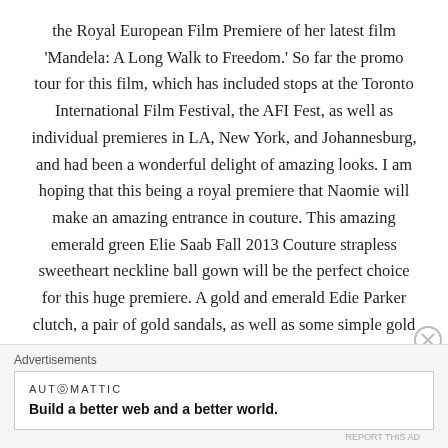the Royal European Film Premiere of her latest film 'Mandela: A Long Walk to Freedom.' So far the promo tour for this film, which has included stops at the Toronto International Film Festival, the AFI Fest, as well as individual premieres in LA, New York, and Johannesburg, and had been a wonderful delight of amazing looks. I am hoping that this being a royal premiere that Naomie will make an amazing entrance in couture. This amazing emerald green Elie Saab Fall 2013 Couture strapless sweetheart neckline ball gown will be the perfect choice for this huge premiere. A gold and emerald Edie Parker clutch, a pair of gold sandals, as well as some simple gold and diamond
Advertisements
AUTOMATTIC
Build a better web and a better world.